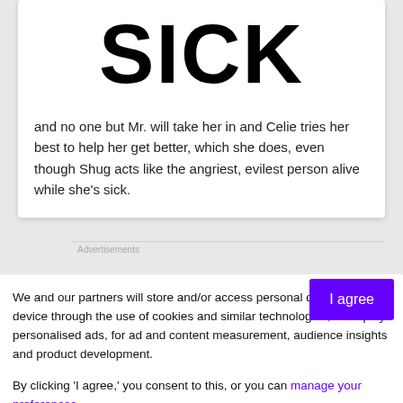SICK
and no one but Mr. will take her in and Celie tries her best to help her get better, which she does, even though Shug acts like the angriest, evilest person alive while she's sick.
Advertisements
We and our partners will store and/or access personal data on your device through the use of cookies and similar technologies, to display personalised ads, for ad and content measurement, audience insights and product development.
By clicking ‘I agree,’ you consent to this, or you can manage your preferences.